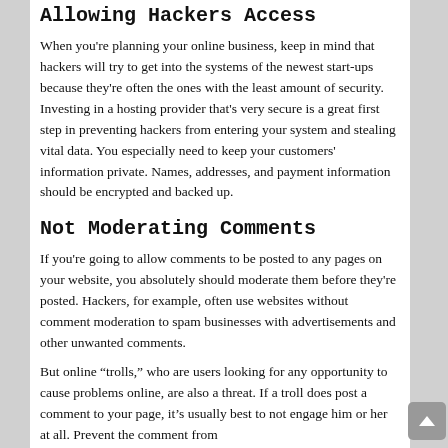Allowing Hackers Access
When you're planning your online business, keep in mind that hackers will try to get into the systems of the newest start-ups because they're often the ones with the least amount of security. Investing in a hosting provider that's very secure is a great first step in preventing hackers from entering your system and stealing vital data. You especially need to keep your customers' information private. Names, addresses, and payment information should be encrypted and backed up.
Not Moderating Comments
If you're going to allow comments to be posted to any pages on your website, you absolutely should moderate them before they're posted. Hackers, for example, often use websites without comment moderation to spam businesses with advertisements and other unwanted comments.
But online “trolls,” who are users looking for any opportunity to cause problems online, are also a threat. If a troll does post a comment to your page, it’s usually best to not engage him or her at all. Prevent the comment from